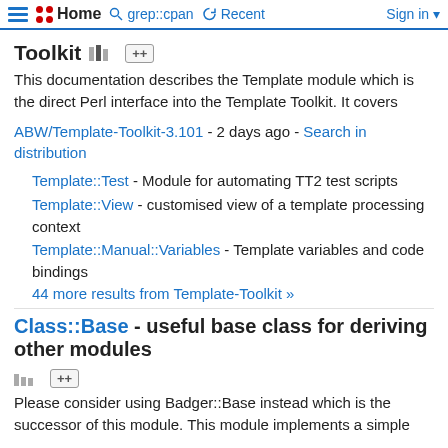Home | grep::cpan | Recent | Sign in
Toolkit ++
This documentation describes the Template module which is the direct Perl interface into the Template Toolkit. It covers
ABW/Template-Toolkit-3.101 - 2 days ago - Search in distribution
Template::Test - Module for automating TT2 test scripts
Template::View - customised view of a template processing context
Template::Manual::Variables - Template variables and code bindings
44 more results from Template-Toolkit »
Class::Base - useful base class for deriving other modules ++
Please consider using Badger::Base instead which is the successor of this module. This module implements a simple
YANICK/Class-Base-0.09 - Jan 04, 2018 - Search in